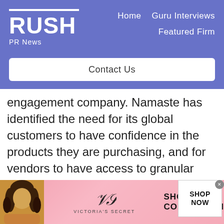RUSH PR News — Home | Guru Interviews | Featured Firm | Contact Us
engagement company. Namaste has identified the need for its global customers to have confidence in the products they are purchasing, and for vendors to have access to granular data on their end-users. As such, Namaste plans to introduce YPB's solutions across its network of
[Figure (photo): Victoria's Secret advertisement banner with model photo, VS logo, 'SHOP THE COLLECTION' text and 'SHOP NOW' button]